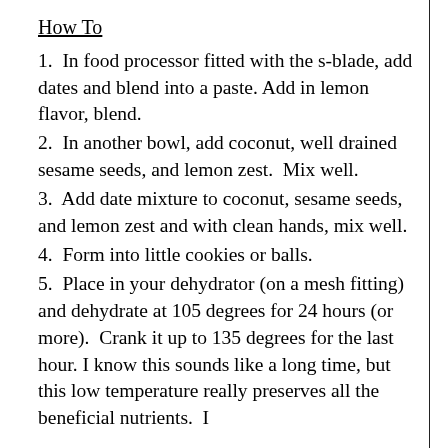How To
1.  In food processor fitted with the s-blade, add dates and blend into a paste. Add in lemon flavor, blend.
2.  In another bowl, add coconut, well drained sesame seeds, and lemon zest.  Mix well.
3.  Add date mixture to coconut, sesame seeds, and lemon zest and with clean hands, mix well.
4.  Form into little cookies or balls.
5.  Place in your dehydrator (on a mesh fitting) and dehydrate at 105 degrees for 24 hours (or more).  Crank it up to 135 degrees for the last hour. I know this sounds like a long time, but this low temperature really preserves all the beneficial nutrients.  I